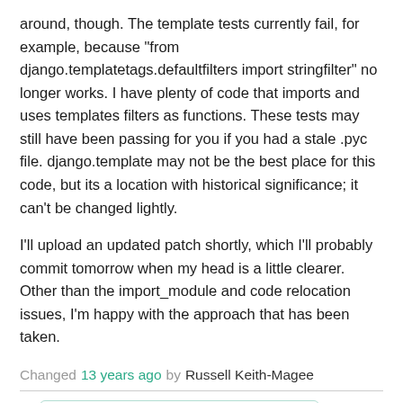around, though. The template tests currently fail, for example, because "from django.templatetags.defaultfilters import stringfilter" no longer works. I have plenty of code that imports and uses templates filters as functions. These tests may still have been passing for you if you had a stale .pyc file. django.template may not be the best place for this code, but its a location with historical significance; it can't be changed lightly.
I'll upload an updated patch shortly, which I'll probably commit tomorrow when my head is a little clearer. Other than the import_module and code relocation issues, I'm happy with the approach that has been taken.
Changed 13 years ago by Russell Keith-Magee
Attachment: t6587-r12291.1.diff added
RC1 of template load refactoring